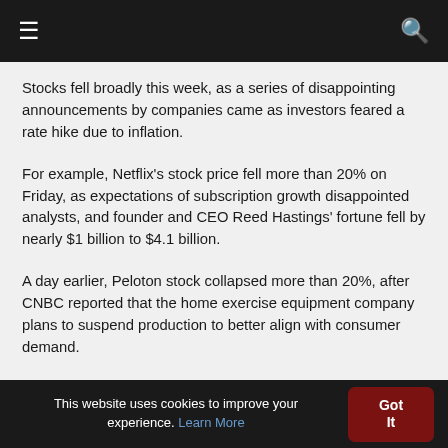≡ 🔍
Stocks fell broadly this week, as a series of disappointing announcements by companies came as investors feared a rate hike due to inflation.
For example, Netflix's stock price fell more than 20% on Friday, as expectations of subscription growth disappointed analysts, and founder and CEO Reed Hastings' fortune fell by nearly $1 billion to $4.1 billion.
A day earlier, Peloton stock collapsed more than 20%, after CNBC reported that the home exercise equipment company plans to suspend production to better align with consumer demand.
This website uses cookies to improve your experience. Learn More  Got It